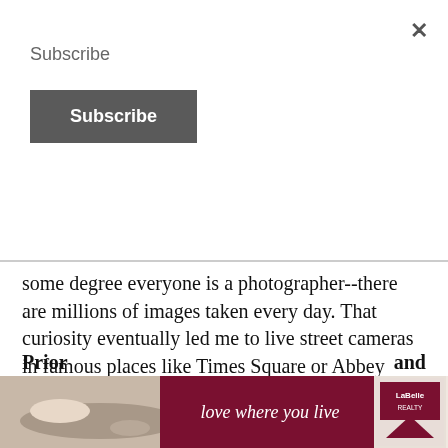Subscribe
Subscribe (button)
some degree everyone is a photographer--there are millions of images taken every day. That curiosity eventually led me to live street cameras in famous places like Times Square or Abbey Road, where thousands of people visit every day. When watching, I noticed tourists constantly taking photos. It made me think, “I wonder if I could find that photo?” So I would match the moment in time when someone took a picture on the webcam, to the actual photo the pe...
Prior... and
[Figure (photo): Advertisement banner: LaBelle Realty 'love where you live' ad with a person lying in bed with a dog, maroon background with italic white text.]